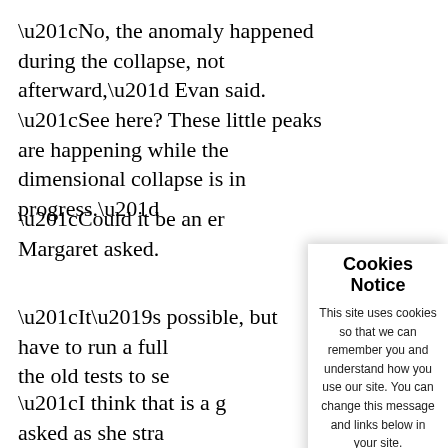“No, the anomaly happened during the collapse, not afterward,” Evan said. “See here? These little peaks are happening while the dimensional collapse is in progress.”
“Could it be an er… Margaret asked.
“It’s possible, but have to run a full the old tests to se…
“I think that is a g asked as she stra buttons were secu appearance when away from the lab was fussing.
Cookies Notice
This site uses cookies so that we can remember you and understand how you use our site. You can change this message and links below in your site.
Please Read Our Cookies Privacy Policies
I Agree